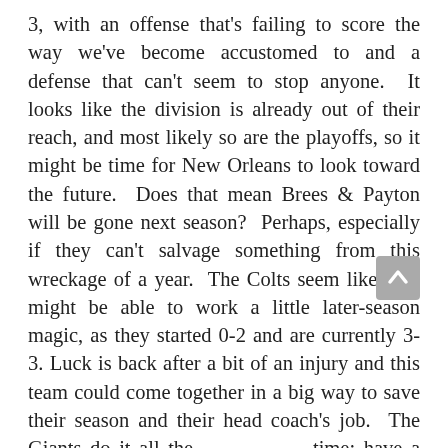3, with an offense that's failing to score the way we've become accustomed to and a defense that can't seem to stop anyone. It looks like the division is already out of their reach, and most likely so are the playoffs, so it might be time for New Orleans to look toward the future. Does that mean Brees & Payton will be gone next season? Perhaps, especially if they can't salvage something from this wreckage of a year. The Colts seem like they might be able to work a little later-season magic, as they started 0-2 and are currently 3-3. Luck is back after a bit of an injury and this team could come together in a big way to save their season and their head coach's job. The Giants do it all the time; have a mediocre season, peak at the end of the year, and ride momentum into the playoffs. At home with the pressure on vs a bad team, I think Indy rights the ship, and I think there's a strong chance they keep that course steady going forward.